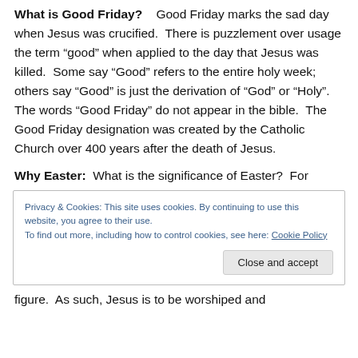What is Good Friday?    Good Friday marks the sad day when Jesus was crucified.  There is puzzlement over usage the term “good” when applied to the day that Jesus was killed.  Some say “Good” refers to the entire holy week; others say “Good” is just the derivation of “God” or “Holy”.  The words “Good Friday” do not appear in the bible.  The Good Friday designation was created by the Catholic Church over 400 years after the death of Jesus.
Why Easter:  What is the significance of Easter?  For
Privacy & Cookies: This site uses cookies. By continuing to use this website, you agree to their use.
To find out more, including how to control cookies, see here: Cookie Policy
figure.  As such, Jesus is to be worshiped and